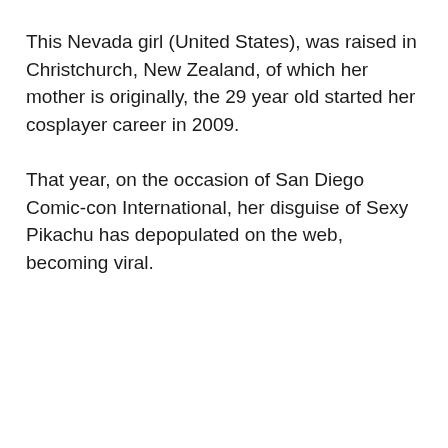This Nevada girl (United States), was raised in Christchurch, New Zealand, of which her mother is originally, the 29 year old started her cosplayer career in 2009.
That year, on the occasion of San Diego Comic-con International, her disguise of Sexy Pikachu has depopulated on the web, becoming viral.